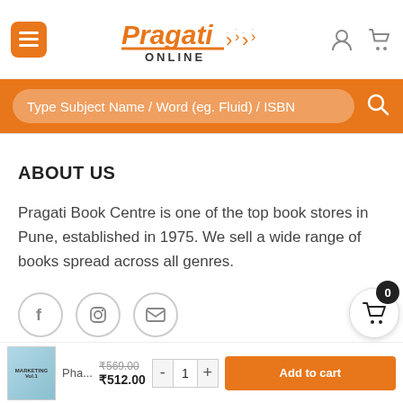[Figure (screenshot): Pragati Online website header with hamburger menu button, logo, user icon, and cart icon]
Type Subject Name / Word (eg. Fluid) / ISBN
ABOUT US
Pragati Book Centre is one of the top book stores in Pune, established in 1975. We sell a wide range of books spread across all genres.
[Figure (illustration): Social media icons: Facebook, Instagram, Email in circles]
CATEGORIES
[Figure (screenshot): Bottom add-to-cart bar with book thumbnail, prices ₹569.00 and ₹512.00, quantity control, and Add to cart button]